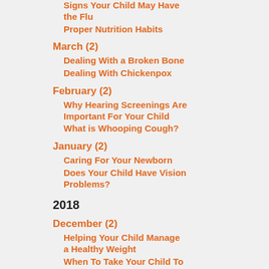Signs Your Child May Have the Flu
Proper Nutrition Habits
March (2)
Dealing With a Broken Bone
Dealing With Chickenpox
February (2)
Why Hearing Screenings Are Important For Your Child
What is Whooping Cough?
January (2)
Caring For Your Newborn
Does Your Child Have Vision Problems?
2018
December (2)
Helping Your Child Manage a Healthy Weight
When To Take Your Child To Urgent Care